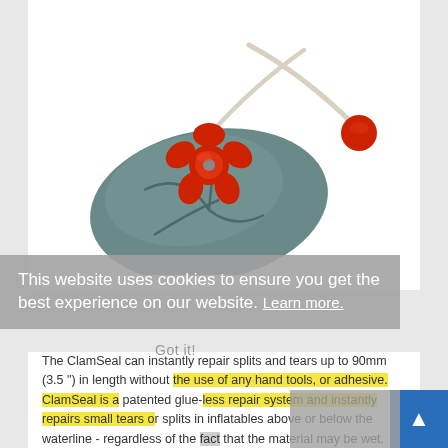[Figure (photo): Product photo of a ClamSeal device: a grey oval-shaped rubber/plastic base with a red star-shaped knob on top, connected by a white rope/cord to a red ball. The device sits on a white background.]
This website uses cookies to ensure you get the best experience on our website. Learn more.
The ClamSeal can instantly repair splits and tears up to 90mm (3.5") in length without the use of any hand tools, or adhesive. ClamSeal is a patented glue-less repair system and instantly repairs small tears or splits in inflatables above or below the waterline - regardless of the fact that the material may be wet.